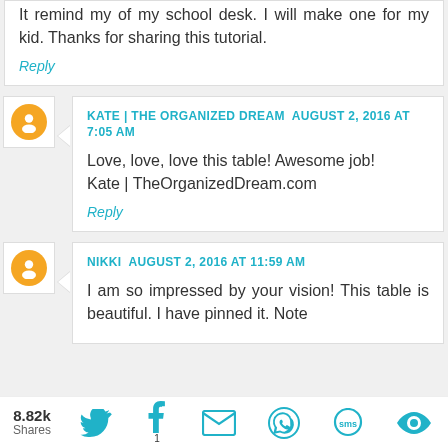It remind my of my school desk. I will make one for my kid. Thanks for sharing this tutorial.
Reply
KATE | THE ORGANIZED DREAM AUGUST 2, 2016 AT 7:05 AM
Love, love, love this table! Awesome job!
Kate | TheOrganizedDream.com
Reply
NIKKI AUGUST 2, 2016 AT 11:59 AM
I am so impressed by your vision! This table is beautiful. I have pinned it. Note
8.82k Shares